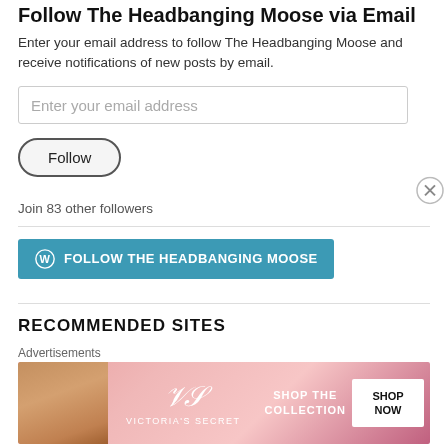Follow The Headbanging Moose via Email
Enter your email address to follow The Headbanging Moose and receive notifications of new posts by email.
Enter your email address
Follow
Join 83 other followers
[Figure (other): WordPress Follow THE HEADBANGING MOOSE button (teal/blue)]
RECOMMENDED SITES
Advertisements
[Figure (other): Victoria's Secret advertisement banner with model, logo, 'SHOP THE COLLECTION' text and 'SHOP NOW' button on pink background]